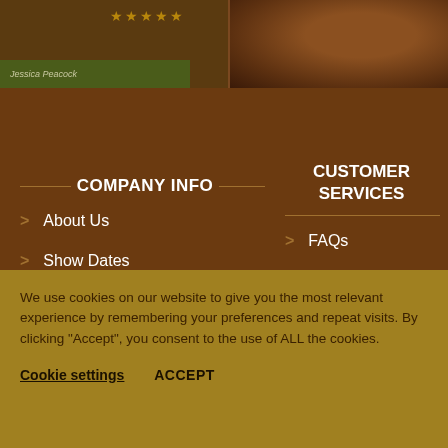[Figure (photo): Top strip showing a customer review card with 5 gold stars and name 'Jessica Peacock' on the left, and a leather saddle close-up photo on the right]
COMPANY INFO
> About Us
> Show Dates
> Visit Our Showroom
CUSTOMER SERVICES
> FAQs
> Useful Links
> Testimonials
We use cookies on our website to give you the most relevant experience by remembering your preferences and repeat visits. By clicking "Accept", you consent to the use of ALL the cookies.
Cookie settings   ACCEPT